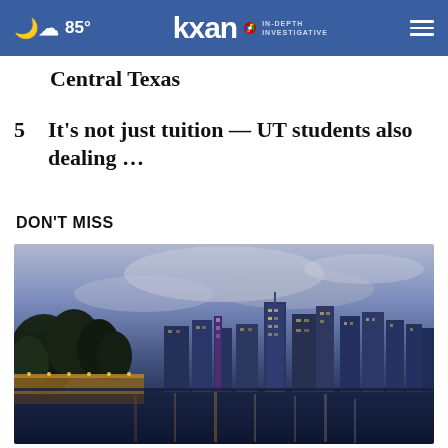85° KXAN IN-DEPTH INVESTIGATIVE
Central Texas
5  It's not just tuition — UT students also dealing …
DON'T MISS
[Figure (photo): Austin, Texas city skyline at dusk/night reflected in a body of water, with trees and an illuminated walkway in the foreground.]